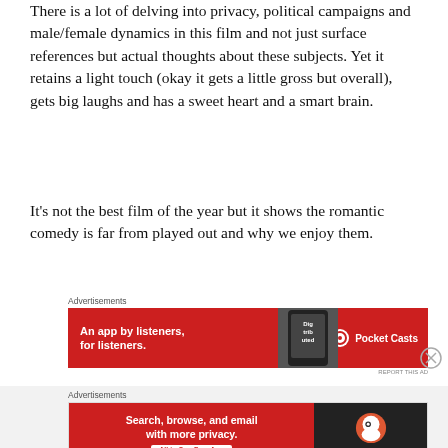There is a lot of delving into privacy, political campaigns and male/female dynamics in this film and not just surface references but actual thoughts about these subjects. Yet it retains a light touch (okay it gets a little gross but overall), gets big laughs and has a sweet heart and a smart brain.
It's not the best film of the year but it shows the romantic comedy is far from played out and why we enjoy them.
[Figure (screenshot): Advertisement banner for Pocket Casts: red background with text 'An app by listeners, for listeners.' and Pocket Casts logo on right, with a phone image in center]
[Figure (screenshot): Advertisement banner for DuckDuckGo: red left section with text 'Search, browse, and email with more privacy. All in One Free App' and dark right section with DuckDuckGo logo]